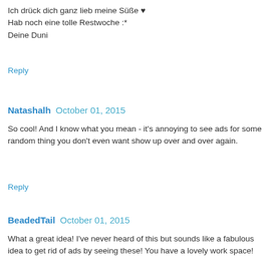Ich drück dich ganz lieb meine Süße ♥
Hab noch eine tolle Restwoche :*
Deine Duni
Reply
Natashalh  October 01, 2015
So cool! And I know what you mean - it's annoying to see ads for some random thing you don't even want show up over and over again.
Reply
BeadedTail  October 01, 2015
What a great idea! I've never heard of this but sounds like a fabulous idea to get rid of ads by seeing these! You have a lovely work space!
Reply